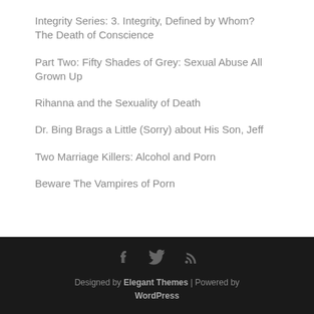Integrity Series: 3. Integrity, Defined by Whom? The Death of Conscience
Part Two: Fifty Shades of Grey: Sexual Abuse All Grown Up
Rihanna and the Sexuality of Death
Dr. Bing Brags a Little (Sorry) about His Son, Jeff
Two Marriage Killers: Alcohol and Porn
Beware The Vampires of Porn
Designed by Elegant Themes | Powered by WordPress